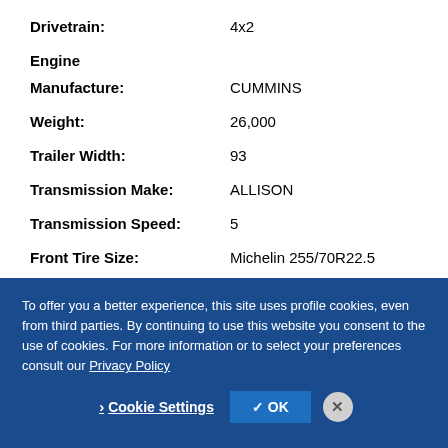Drivetrain: 4x2
Engine
Manufacture: CUMMINS
Weight: 26,000
Trailer Width: 93
Transmission Make: ALLISON
Transmission Speed: 5
Front Tire Size: Michelin 255/70R22.5
To offer you a better experience, this site uses profile cookies, even from third parties. By continuing to use this website you consent to the use of cookies. For more information or to select your preferences consult our Privacy Policy